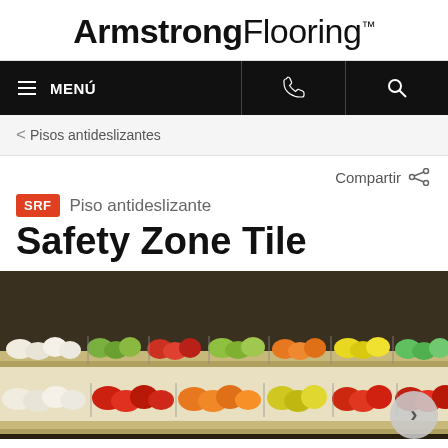ArmstrongFlooring
≡ MENÚ
< Pisos antideslizantes
Compartir
SRF  Piso antideslizante
Safety Zone Tile
[Figure (photo): Produce display case with multiple rows of colorful fruits and vegetables on refrigerated shelves]